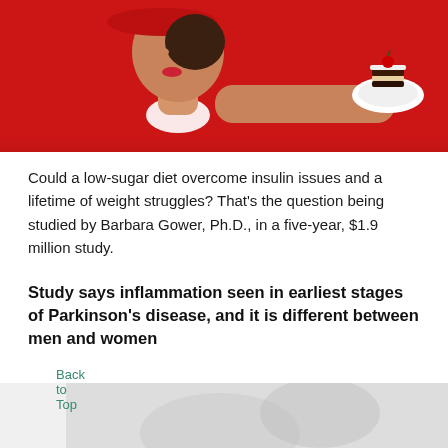[Figure (photo): Woman in red outfit and red beret holding a plate with a chocolate cake slice, against a red background]
Could a low-sugar diet overcome insulin issues and a lifetime of weight struggles? That's the question being studied by Barbara Gower, Ph.D., in a five-year, $1.9 million study.
Study says inflammation seen in earliest stages of Parkinson's disease, and it is different between men and women
[Figure (photo): Partial grayscale photo at the bottom of the page]
Back to Top